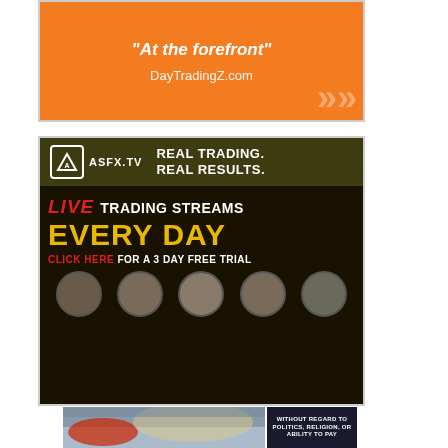[Figure (illustration): Orange advertisement banner with italic bold text '"At the forefront"' and URL 'DayTradingZ.com' with decorative white chevron marks in bottom right corner]
[Figure (illustration): ASFX.TV advertisement with dark olive header showing logo and 'REAL TRADING. REAL RESULTS.' tagline, dark body with 'LIVE TRADING STREAMS EVERY DAY' text in red/white/yellow, 'CLICK HERE FOR A 3 DAY FREE TRIAL' CTA, and five faces of traders at bottom]
[Figure (photo): Partial view of an airplane on the ground with text overlay 'WITHOUT REGARD TO POLITICS, RELIGION, OR ABILITY TO PAY']